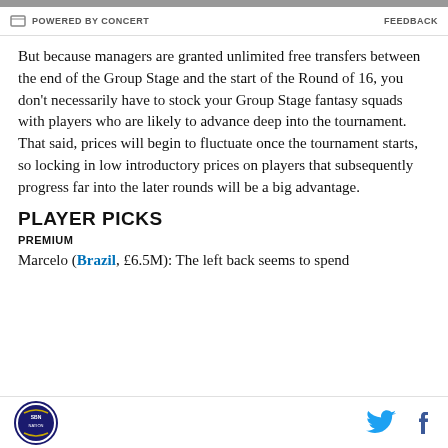POWERED BY CONCERT | FEEDBACK
But because managers are granted unlimited free transfers between the end of the Group Stage and the start of the Round of 16, you don't necessarily have to stock your Group Stage fantasy squads with players who are likely to advance deep into the tournament. That said, prices will begin to fluctuate once the tournament starts, so locking in low introductory prices on players that subsequently progress far into the later rounds will be a big advantage.
PLAYER PICKS
PREMIUM
Marcelo (Brazil, £6.5M): The left back seems to spend